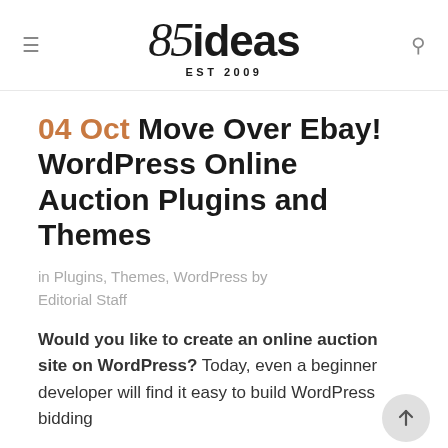85ideas EST 2009
04 Oct Move Over Ebay! WordPress Online Auction Plugins and Themes
in Plugins, Themes, WordPress by Editorial Staff
Would you like to create an online auction site on WordPress? Today, even a beginner developer will find it easy to build WordPress bidding